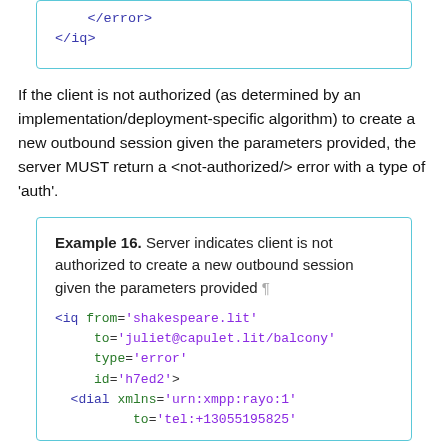[Figure (screenshot): Code box showing XML closing tags: </error> and </iq> in blue monospace font, inside a cyan-bordered box.]
If the client is not authorized (as determined by an implementation/deployment-specific algorithm) to create a new outbound session given the parameters provided, the server MUST return a <not-authorized/> error with a type of 'auth'.
[Figure (screenshot): Example 16 box: 'Example 16. Server indicates client is not authorized to create a new outbound session given the parameters provided' followed by XML code with <iq from='shakespeare.lit' to='juliet@capulet.lit/balcony' type='error' id='h7ed2'> <dial xmlns='urn:xmpp:rayo:1' to='tel:+13055195825']
Example 16. Server indicates client is not authorized to create a new outbound session given the parameters provided